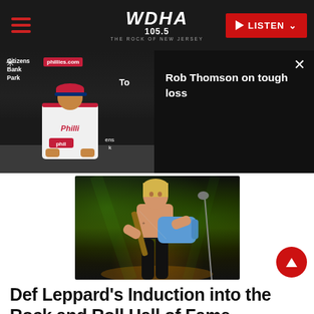WDHA 105.5 THE ROCK OF NEW JERSEY — LISTEN
[Figure (screenshot): Video overlay: Rob Thomson press conference at Citizens Bank Park Phillies stadium on left; black panel with text 'Rob Thomson on tough loss' and close button on right]
[Figure (photo): Shirtless rock guitarist performing on stage with a light blue electric guitar, green stage lighting in background]
Def Leppard's Induction into the Rock and Roll Hall of Fame